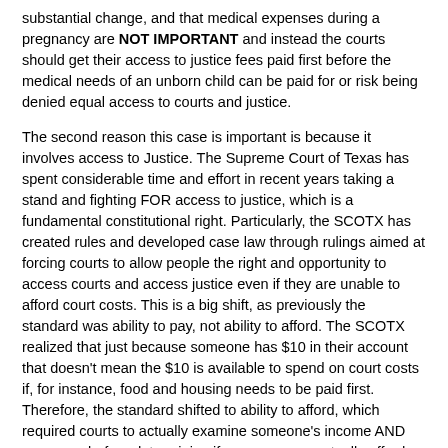substantial change, and that medical expenses during a pregnancy are NOT IMPORTANT and instead the courts should get their access to justice fees paid first before the medical needs of an unborn child can be paid for or risk being denied equal access to courts and justice.
The second reason this case is important is because it involves access to Justice. The Supreme Court of Texas has spent considerable time and effort in recent years taking a stand and fighting FOR access to justice, which is a fundamental constitutional right. Particularly, the SCOTX has created rules and developed case law through rulings aimed at forcing courts to allow people the right and opportunity to access courts and access justice even if they are unable to afford court costs. This is a big shift, as previously the standard was ability to pay, not ability to afford. The SCOTX realized that just because someone has $10 in their account that doesn't mean the $10 is available to spend on court costs if, for instance, food and housing needs to be paid first. Therefore, the standard shifted to ability to afford, which required courts to actually examine someone's income AND expenses before determining if someone can actually afford court costs after necessary expenses. Unfortunately, many lower courts still haven't come on board with the new rules regarding access to justice or they are simply openly defying the guidance from the SCOTX. This case is a prime example of complete disregard for access to justice and the standards for determining ability to afford that have been set forth by the SCOTX.
So, what exactly is this current case before the Supreme Court of